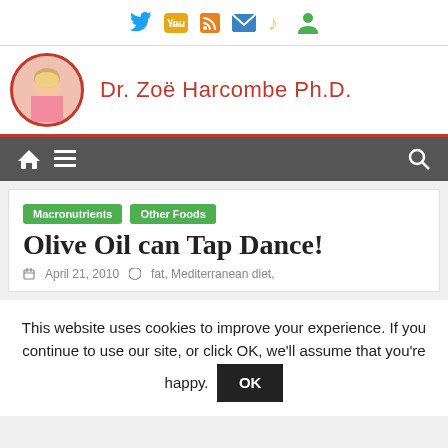[Figure (other): Social media icons bar: Twitter (blue bird), YouTube (orange/yellow), RSS feed, Email (blue envelope), Music note (yellow), Person/user (green)]
Dr. Zoë Harcombe Ph.D.
[Figure (other): Navigation bar with home icon, hamburger menu icon, and search icon on dark grey background]
Macronutrients  Other Foods
Olive Oil can Tap Dance!
April 21, 2010  fat, Mediterranean diet,
This website uses cookies to improve your experience. If you continue to use our site, or click OK, we'll assume that you're happy.  OK